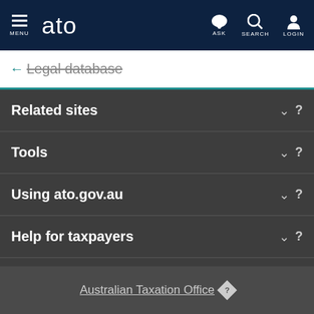MENU  ato  ASK  SEARCH  LOGIN
← Legal database
Related sites
Tools
Using ato.gov.au
Help for taxpayers
Law rulings and policy
Getting it right
Australian Taxation Office